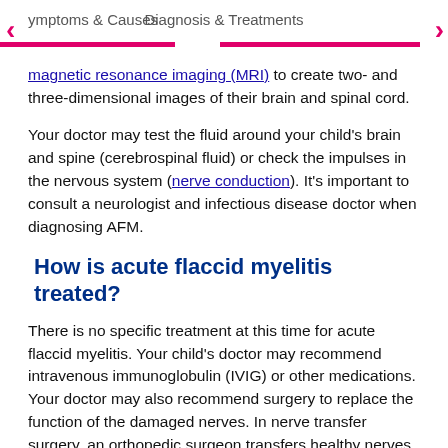Symptoms & Causes | Diagnosis & Treatments
magnetic resonance imaging (MRI) to create two- and three-dimensional images of their brain and spinal cord.
Your doctor may test the fluid around your child's brain and spine (cerebrospinal fluid) or check the impulses in the nervous system (nerve conduction). It's important to consult a neurologist and infectious disease doctor when diagnosing AFM.
How is acute flaccid myelitis treated?
There is no specific treatment at this time for acute flaccid myelitis. Your child's doctor may recommend intravenous immunoglobulin (IVIG) or other medications. Your doctor may also recommend surgery to replace the function of the damaged nerves. In nerve transfer surgery, an orthopedic surgeon transfers healthy nerves to take over the function